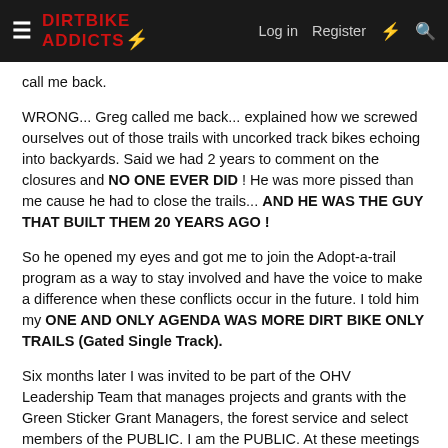DIRTBIKE ADDICTS — Log in | Register
call me back.
WRONG... Greg called me back... explained how we screwed ourselves out of those trails with uncorked track bikes echoing into backyards. Said we had 2 years to comment on the closures and NO ONE EVER DID ! He was more pissed than me cause he had to close the trails... AND HE WAS THE GUY THAT BUILT THEM 20 YEARS AGO !
So he opened my eyes and got me to join the Adopt-a-trail program as a way to stay involved and have the voice to make a difference when these conflicts occur in the future. I told him my ONE AND ONLY AGENDA WAS MORE DIRT BIKE ONLY TRAILS (Gated Single Track).
Six months later I was invited to be part of the OHV Leadership Team that manages projects and grants with the Green Sticker Grant Managers, the forest service and select members of the PUBLIC. I am the PUBLIC. At these meetings serious decisions are made about routes and trails on the Forest Map...